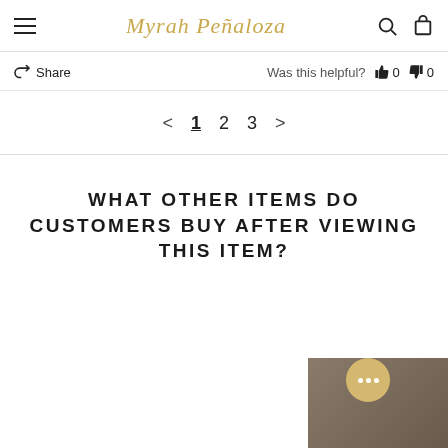Myrah Penaloza — website header with hamburger menu, logo, search and cart icons
Share   Was this helpful?  👍 0  👎 0
< 1 2 3 >
WHAT OTHER ITEMS DO CUSTOMERS BUY AFTER VIEWING THIS ITEM?
[Figure (photo): Partial product photo visible in bottom-right corner]